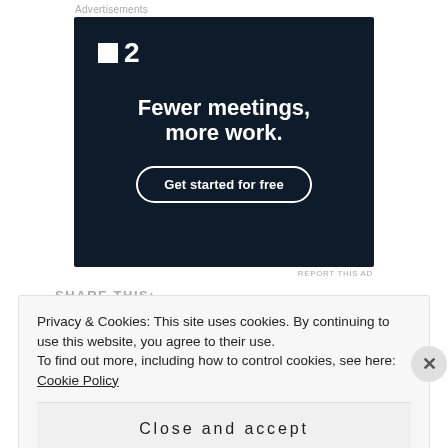Advertisements
[Figure (illustration): Advertisement for a project management tool (F2). Dark navy background with white logo showing a small square and number '2'. Headline reads 'Fewer meetings, more work.' with a 'Get started for free' button.]
REPORT THIS AD
SHARE THIS:
Privacy & Cookies: This site uses cookies. By continuing to use this website, you agree to their use.
To find out more, including how to control cookies, see here: Cookie Policy
Close and accept